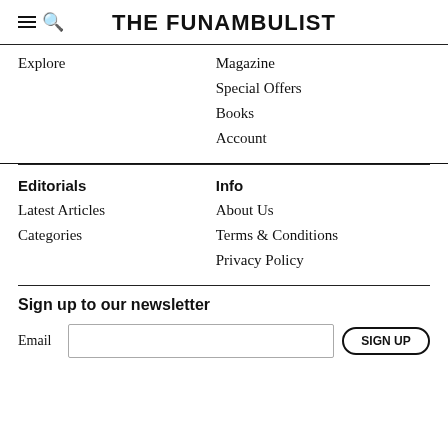THE FUNAMBULIST
Explore
Magazine
Special Offers
Books
Account
Editorials
Info
Latest Articles
Categories
About Us
Terms & Conditions
Privacy Policy
Sign up to our newsletter
Email
SIGN UP